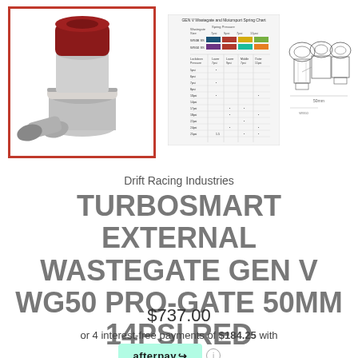[Figure (photo): Red and silver Turbosmart External Wastegate Gen V WG50 Pro-Gate 50mm product photo with red border frame]
[Figure (table-as-image): GEN V Wastegate and Motorsport Spring Chart showing spring pressure settings in a color-coded table]
[Figure (engineering-diagram): Technical engineering line drawing of the wastegate from multiple views]
Drift Racing Industries
TURBOSMART EXTERNAL WASTEGATE GEN V WG50 PRO-GATE 50MM 14PSI RED
$737.00
or 4 interest-free payments of $184.25 with